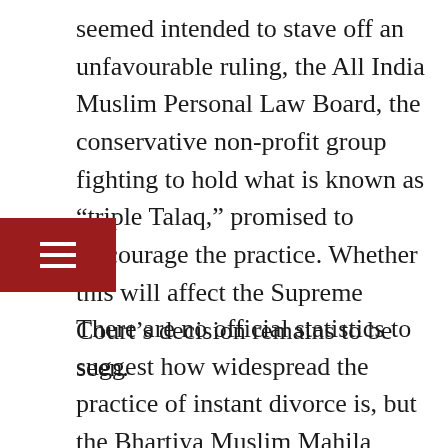seemed intended to stave off an unfavourable ruling, the All India Muslim Personal Law Board, the conservative non-profit group fighting to hold what is known as “triple Talaq,” promised to discourage the practice. Whether this will affect the Supreme Court’s decision remains to be seen.
There are no official statistics to suggest how widespread the practice of instant divorce is, but the Bhartiya Muslim Mahila Andolan study found that among a sample of more than 4,700 women, 525 were divorced and 404 of those were “triple Talaq” divorces. A Muslim woman in India who seeks a divorce must generally gain the permission of her husband, a cleric or other